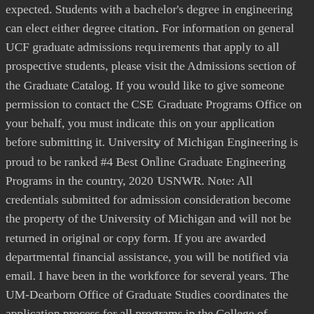expected. Students with a bachelor's degree in engineering can elect either degree citation. For information on general UCF graduate admissions requirements that apply to all prospective students, please visit the Admissions section of the Graduate Catalog. If you would like to give someone permission to contact the CSE Graduate Programs Office on your behalf, you must indicate this on your application before submitting it. University of Michigan Engineering is proud to be ranked #4 Best Online Graduate Engineering Programs in the country, 2020 USNWR. Note: All credentials submitted for admission consideration become the property of the University of Michigan and will not be returned in original or copy form. If you are awarded departmental financial assistance, you will be notified via email. I have been in the workforce for several years. The UM-Dearborn Office of Graduate Studies coordinates the application process for all programs in the College of Engineering and Computer Science (CECS). When evaluating applications, the Graduate Admissions Committee considers every aspect of your application. How can I reapply? Click below for more information about applying for graduate study at CSE. The individual CECS departments review all applications for program admission requirements and then make decisions